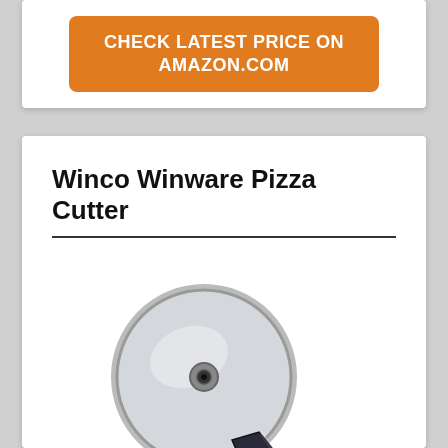CHECK LATEST PRICE ON AMAZON.COM
Winco Winware Pizza Cutter
[Figure (photo): A pizza cutter with a large circular stainless steel blade and a dark handle, photographed against a white background.]